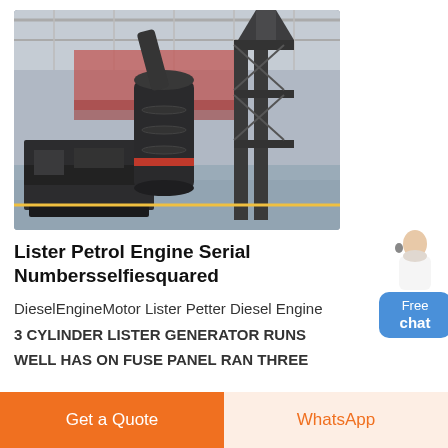[Figure (photo): Industrial machine (likely a Lister diesel engine/generator with a cyclone dust collector or similar large cylindrical component) photographed inside a factory/warehouse with a steel roof structure visible in the background. The machine is dark grey/black with a large vertical cylindrical unit and a horizontal motor-driven base.]
Lister Petrol Engine Serial Numbersselfiesquared
DieselEngineMotor Lister Petter Diesel Engine
3 CYLINDER LISTER GENERATOR RUNS
WELL HAS ON FUSE PANEL RAN THREE
Get a Quote
WhatsApp